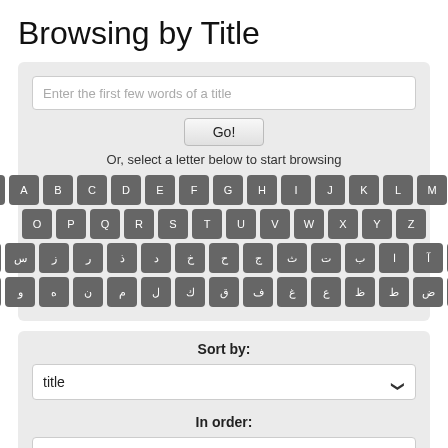Browsing by Title
[Figure (screenshot): Search box with placeholder text 'Enter the first few words of a title', a Go! button, browsing hint text, and a keyboard grid showing 0-9, A-Z Latin letters and Arabic letters]
[Figure (screenshot): Sort by section with dropdown showing 'title', In order section with dropdown showing 'Ascending', and Results/Page label at bottom]